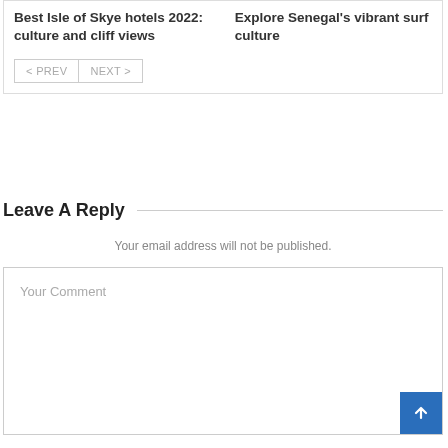Best Isle of Skye hotels 2022: culture and cliff views
Explore Senegal's vibrant surf culture
< PREV
NEXT >
Leave A Reply
Your email address will not be published.
Your Comment